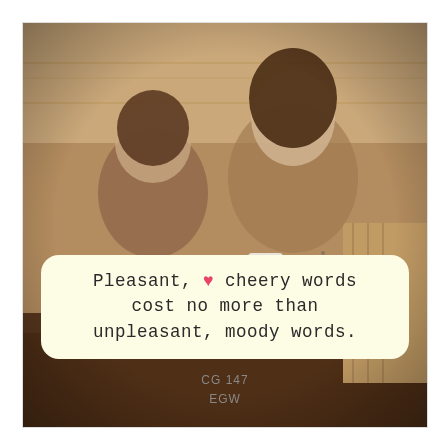[Figure (photo): Two females (a young girl and a teenage or young adult woman, both with long brown hair and glasses) wearing patterned pajamas, sitting together and smiling at each other. The older one holds a white mug. They appear to be in a cozy wooden interior. The image has warm, muted tones.]
Pleasant, ♥ cheery words cost no more than unpleasant, moody words.
CG 147
EGW